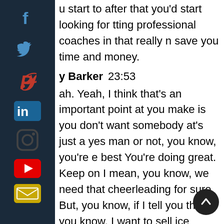[Figure (infographic): Social media share sidebar with icons: Facebook, Twitter, Pinterest, LinkedIn, Instagram, YouTube, Email on dark navy background]
u start to after that you'd start looking for tting professional coaches in that really n save you time and money.
y Barker  23:53
ah. Yeah, I think that's an important point at you make is you don't want somebody at's just a yes man or not, you know, you're e best You're doing great. Keep on I mean, you know, we need that cheerleading for sure. But, you know, if I tell you that, you know, I want to sell ice cream, you know, down around the equator, you know, with electricity, the keep the stuff frozen. You